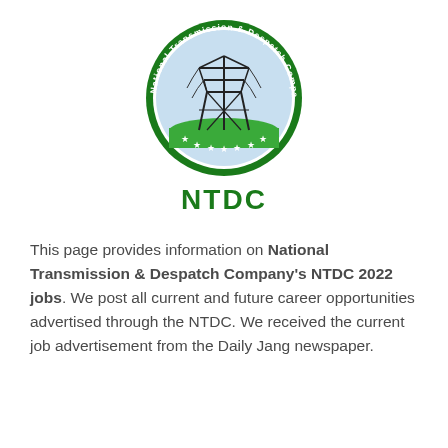[Figure (logo): NTDC circular logo — National Transmission & Despatch Company Limited (NTDC) Pakistan. Green circle border with white text around the ring, central illustration of an electricity transmission tower on a light blue sky background with green ground, white stars along the bottom inner edge of the circle.]
NTDC
This page provides information on National Transmission & Despatch Company's NTDC 2022 jobs. We post all current and future career opportunities advertised through the NTDC. We received the current job advertisement from the Daily Jang newspaper.